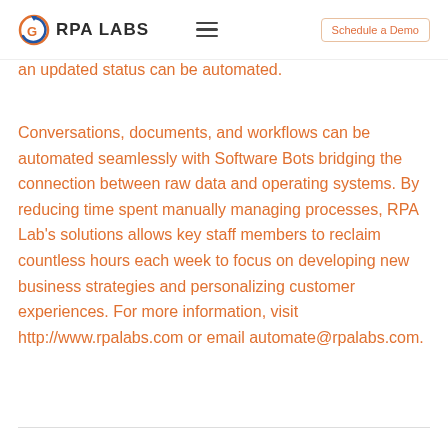RPA LABS  ≡  Schedule a Demo
an updated status can be automated.
Conversations, documents, and workflows can be automated seamlessly with Software Bots bridging the connection between raw data and operating systems. By reducing time spent manually managing processes, RPA Lab's solutions allows key staff members to reclaim countless hours each week to focus on developing new business strategies and personalizing customer experiences. For more information, visit http://www.rpalabs.com or email automate@rpalabs.com.